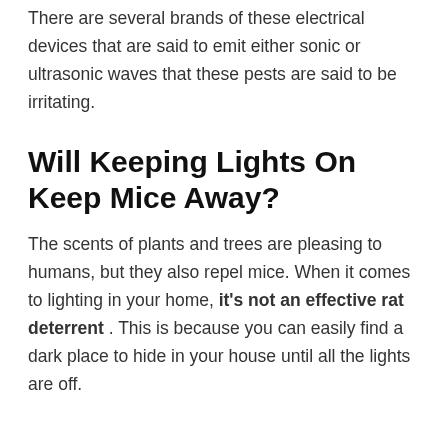There are several brands of these electrical devices that are said to emit either sonic or ultrasonic waves that these pests are said to be irritating.
Will Keeping Lights On Keep Mice Away?
The scents of plants and trees are pleasing to humans, but they also repel mice. When it comes to lighting in your home, it's not an effective rat deterrent . This is because you can easily find a dark place to hide in your house until all the lights are off.